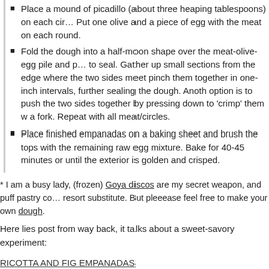Place a mound of picadillo (about three heaping tablespoons) on each cir… Put one olive and a piece of egg with the meat on each round.
Fold the dough into a half-moon shape over the meat-olive-egg pile and p… to seal. Gather up small sections from the edge where the two sides meet pinch them together in one-inch intervals, further sealing the dough. Anoth option is to push the two sides together by pressing down to 'crimp' them w a fork. Repeat with all meat/circles.
Place finished empanadas on a baking sheet and brush the tops with the remaining raw egg mixture. Bake for 40-45 minutes or until the exterior is golden and crisped.
* I am a busy lady, (frozen) Goya discos are my secret weapon, and puff pastry co resort substitute. But pleeease feel free to make your own dough.
Here lies post from way back, it talks about a sweet-savory experiment:
RICOTTA AND FIG EMPANADAS
March 18, 2015
Five more food photos. (BY ORI)